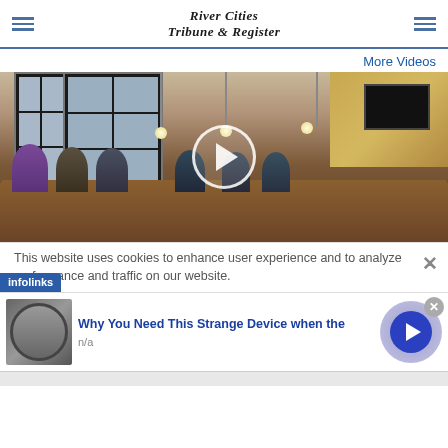River Cities Tribune & Register
More Videos
[Figure (photo): A courtroom or council chamber scene with people seated at a curved wooden bench/desk. Large windows with shutters in background, pendant lights hanging from ceiling, a TV screen visible on the right. A circular play button overlay is centered on the image indicating a video player.]
This website uses cookies to enhance user experience and to analyze performance and traffic on our website.
[Figure (infographic): An advertisement banner from infolinks showing: a thumbnail image of a cylindrical metallic device, bold blue text reading 'Why You Need This Strange Device when the', subtext 'n/a', and a large circular play/next button on the right side. An X close button appears in the top right corner.]